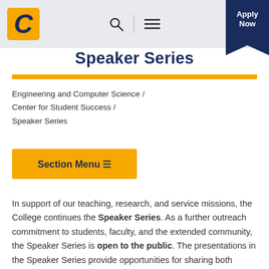UTC Logo navigation bar with search, menu icons and Apply Now button
Speaker Series
Engineering and Computer Science / Center for Student Success / Speaker Series
Section Menu
In support of our teaching, research, and service missions, the College continues the Speaker Series. As a further outreach commitment to students, faculty, and the extended community, the Speaker Series is open to the public. The presentations in the Speaker Series provide opportunities for sharing both cutting-edge information from noted researcher in various fields as well as experience and timely insights from community